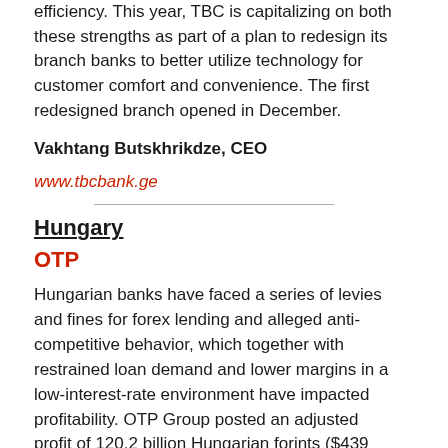efficiency. This year, TBC is capitalizing on both these strengths as part of a plan to redesign its branch banks to better utilize technology for customer comfort and convenience. The first redesigned branch opened in December.
Vakhtang Butskhrikdze, CEO
www.tbcbank.ge
Hungary
OTP
Hungarian banks have faced a series of levies and fines for forex lending and alleged anti-competitive behavior, which together with restrained loan demand and lower margins in a low-interest-rate environment have impacted profitability. OTP Group posted an adjusted profit of 120.2 billion Hungarian forints ($439 million) in 2015, representing a 2% increase over the previous year. In Hungary, OTP's core banking operation contributed income of 123.4 billion forint.